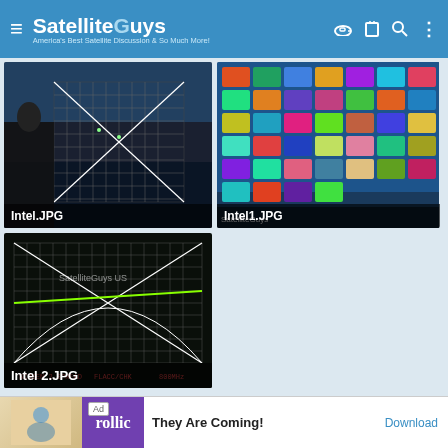SatelliteGuys — America's Best Satellite Discussion & So Much More!
[Figure (photo): Dark photo of a large display showing a satellite signal grid diagram with white grid lines on black background, displayed at an exhibition booth with blue walls]
Intel.JPG
[Figure (photo): Photo of a colorful mosaic/grid of TV channel thumbnails or app icons, blurred and tilted]
Intel1.JPG
[Figure (photo): Close-up of a satellite signal strength grid display on a dark background with a diagonal green line and white grid lines, showing technical readout at bottom]
Intel 2.JPG
Ad — They Are Coming! — Download (Rollic)